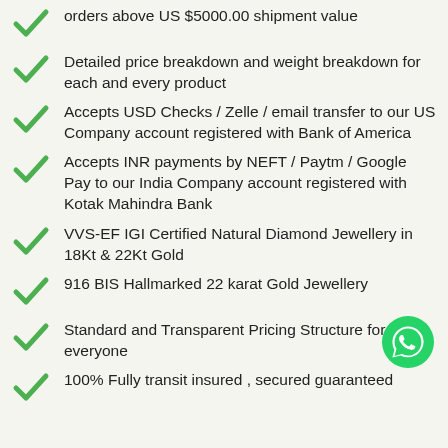orders above US $5000.00 shipment value
Detailed price breakdown and weight breakdown for each and every product
Accepts USD Checks / Zelle / email transfer to our US Company account registered with Bank of America
Accepts INR payments by NEFT / Paytm / Google Pay to our India Company account registered with Kotak Mahindra Bank
VVS-EF IGI Certified Natural Diamond Jewellery in 18Kt & 22Kt Gold
916 BIS Hallmarked 22 karat Gold Jewellery
Standard and Transparent Pricing Structure for everyone
100% Fully transit insured , secured guaranteed